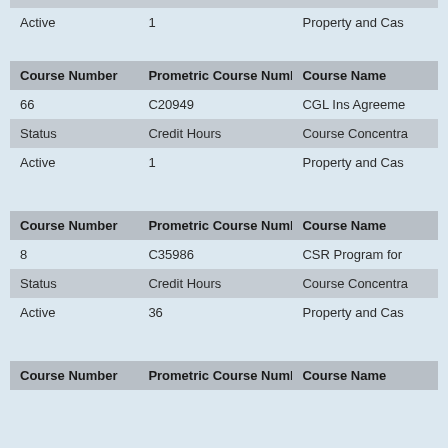| Course Number | Prometric Course Number | Course Name |
| --- | --- | --- |
| Active | 1 | Property and Cas |
| Course Number | Prometric Course Number | Course Name |
| --- | --- | --- |
| 66 | C20949 | CGL Ins Agreeme |
| Status | Credit Hours | Course Concentra |
| Active | 1 | Property and Cas |
| Course Number | Prometric Course Number | Course Name |
| --- | --- | --- |
| 8 | C35986 | CSR Program for |
| Status | Credit Hours | Course Concentra |
| Active | 36 | Property and Cas |
| Course Number | Prometric Course Number | Course Name |
| --- | --- | --- |